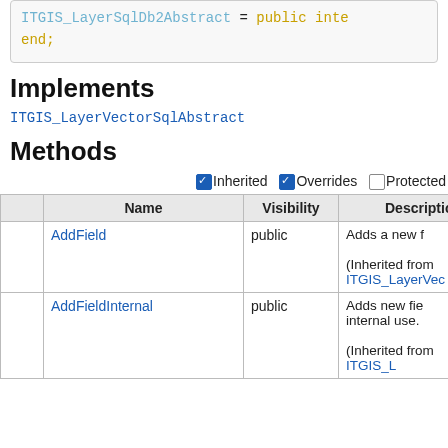[Figure (screenshot): Code block showing: ITGIS_LayerSqlDb2Abstract = public inte... end;]
Implements
ITGIS_LayerVectorSqlAbstract
Methods
|  | Name | Visibility | Description |
| --- | --- | --- | --- |
|  | AddField | public | Adds a new f... (Inherited from ITGIS_LayerVec... |
|  | AddFieldInternal | public | Adds new fie... internal use. (Inherited from ITGIS_L... |